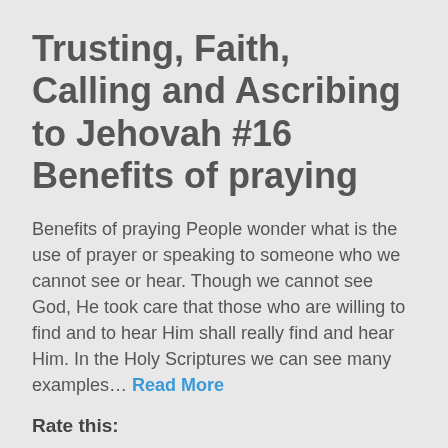Trusting, Faith, Calling and Ascribing to Jehovah #16 Benefits of praying
Benefits of praying People wonder what is the use of prayer or speaking to someone who we cannot see or hear. Though we cannot see God, He took care that those who are willing to find and to hear Him shall really find and hear Him. In the Holy Scriptures we can see many examples… Read More
Rate this:
★★★★★ ℹ 1 Vote
April 8, 2014   Christadelphians   25 Comments